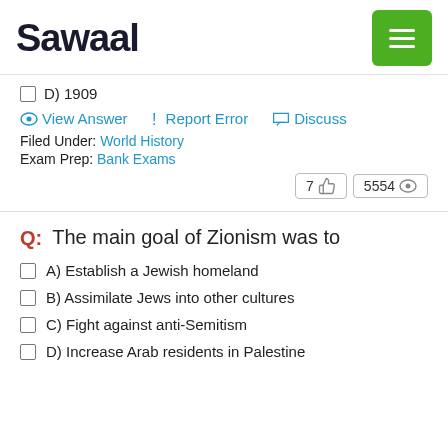Sawaal
D) 1909
View Answer | Report Error | Discuss
Filed Under: World History
Exam Prep: Bank Exams
7 👍   5554 👁
Q: The main goal of Zionism was to
A) Establish a Jewish homeland
B) Assimilate Jews into other cultures
C) Fight against anti-Semitism
D) Increase Arab residents in Palestine